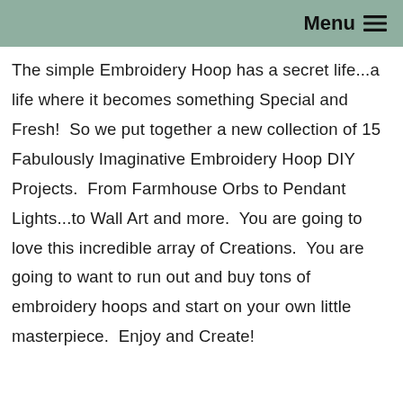Menu ≡
The simple Embroidery Hoop has a secret life...a life where it becomes something Special and Fresh!  So we put together a new collection of 15 Fabulously Imaginative Embroidery Hoop DIY Projects.  From Farmhouse Orbs to Pendant Lights...to Wall Art and more.  You are going to love this incredible array of Creations.  You are going to want to run out and buy tons of embroidery hoops and start on your own little masterpiece.  Enjoy and Create!